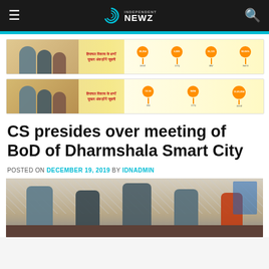Independent Newz — navigation bar with hamburger menu and search icon
[Figure (infographic): Advertisement banner 1 — Himachal Pradesh government infographic with Hindi text and statistics]
[Figure (infographic): Advertisement banner 2 — Himachal Pradesh government infographic with Hindi text and statistics]
CS presides over meeting of BoD of Dharmshala Smart City
POSTED ON DECEMBER 19, 2019 BY IDNADMIN
[Figure (photo): Meeting photo showing several officials seated at a table in a room with patterned wallpaper]